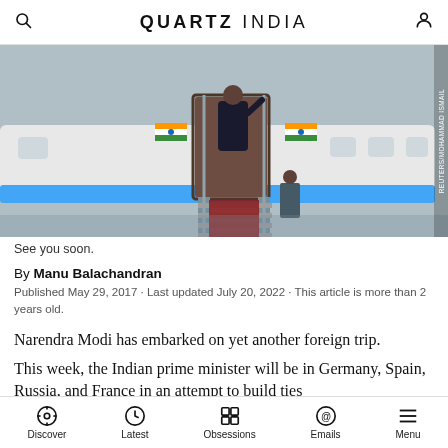QUARTZ INDIA
[Figure (photo): A person in a dark suit standing at the top of an airplane staircase, waving, with Indian flag visible in the background. Another person in uniform stands at the bottom of the stairs. White aircraft with blue stripe.]
See you soon.
By Manu Balachandran
Published May 29, 2017 · Last updated July 20, 2022 · This article is more than 2 years old.
Narendra Modi has embarked on yet another foreign trip.
This week, the Indian prime minister will be in Germany, Spain, Russia, and France in an attempt to build ties
Discover | Latest | Obsessions | Emails | Menu